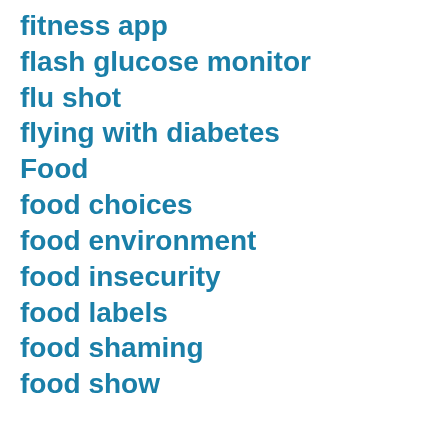fitness app
flash glucose monitor
flu shot
flying with diabetes
Food
food choices
food environment
food insecurity
food labels
food shaming
food show